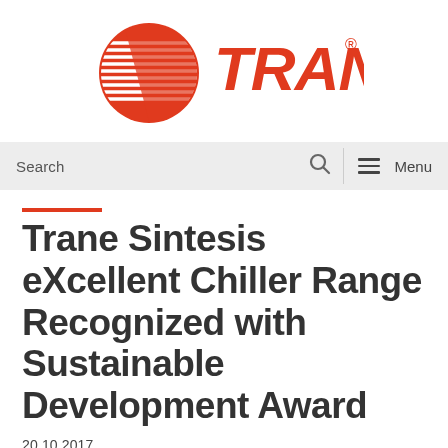[Figure (logo): Trane logo: red circle with horizontal white stripes forming a stylized globe/coil shape, with bold red italic text TRANE and registered trademark symbol]
[Figure (screenshot): Navigation bar with Search field and magnifier icon on left, vertical divider, hamburger menu icon and Menu text on right, gray background]
Trane Sintesis eXcellent Chiller Range Recognized with Sustainable Development Award
20.10.2017
[Figure (infographic): Four circular gray social sharing buttons: LinkedIn (in), Google+ (g+), email (envelope icon), print (printer icon)]
Brussels, Oct. 20, 2017. The Permanent Council of the